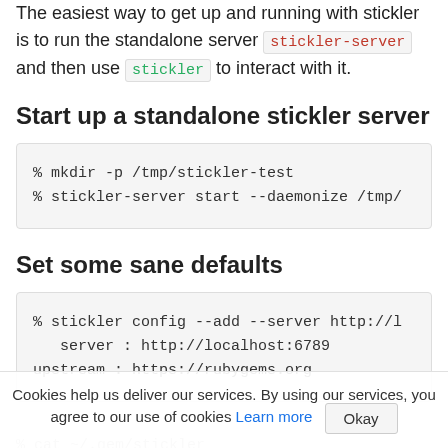The easiest way to get up and running with stickler is to run the standalone server stickler-server and then use stickler to interact with it.
Start up a standalone stickler server
% mkdir -p /tmp/stickler-test
% stickler-server start --daemonize /tmp/
Set some sane defaults
% stickler config --add --server http://l
   server : http://localhost:6789
upstream : https://rubygems.org
% cat ~/.gem/stickler
Cookies help us deliver our services. By using our services, you agree to our use of cookies Learn more Okay